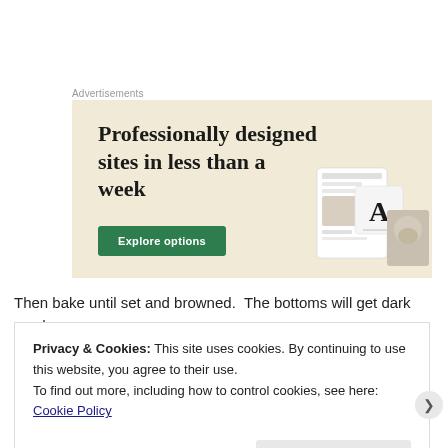Advertisements
[Figure (screenshot): Advertisement banner with beige/cream background showing text 'Professionally designed sites in less than a week' with a green 'Explore options' button and website mockup images on the right.]
Then bake until set and browned.  The bottoms will get dark much
Privacy & Cookies: This site uses cookies. By continuing to use this website, you agree to their use.
To find out more, including how to control cookies, see here: Cookie Policy

Close and accept